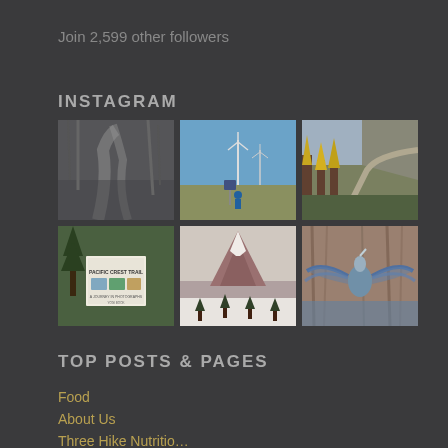Join 2,599 other followers
INSTAGRAM
[Figure (photo): A 3x2 grid of 6 Instagram photos: (1) black and white winter stream scene, (2) hiker on trail with wind turbines, (3) autumn forested trail with yellow trees, (4) Pacific Crest Trail book cover with pine trees, (5) snowy mountain peak with conifers, (6) great blue heron with wings spread in water]
TOP POSTS & PAGES
Food
About Us
Three Hike Nutrition…